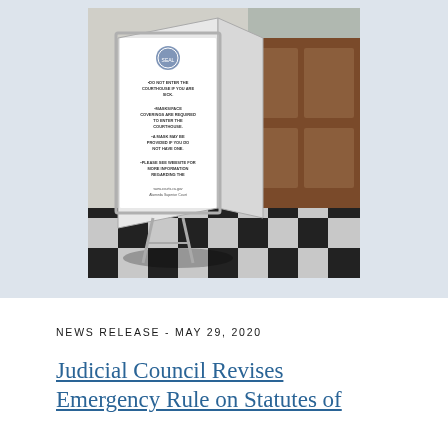[Figure (photo): Outdoor A-frame sign with COVID-19 courthouse entry rules posted at a courthouse entrance with checkered tile floor and wooden doors in background. Sign includes mask requirement and health screening notices.]
NEWS RELEASE - MAY 29, 2020
Judicial Council Revises Emergency Rule on Statutes of